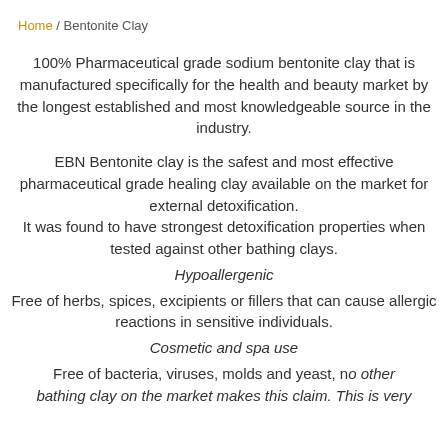Home / Bentonite Clay
100% Pharmaceutical grade sodium bentonite clay that is manufactured specifically for the health and beauty market by the longest established and most knowledgeable source in the industry.
EBN Bentonite clay is the safest and most effective pharmaceutical grade healing clay available on the market for external detoxification. It was found to have strongest detoxification properties when tested against other bathing clays.
Hypoallergenic
Free of herbs, spices, excipients or fillers that can cause allergic reactions in sensitive individuals.
Cosmetic and spa use
Free of bacteria, viruses, molds and yeast, no other bathing clay on the market makes this claim. This is very